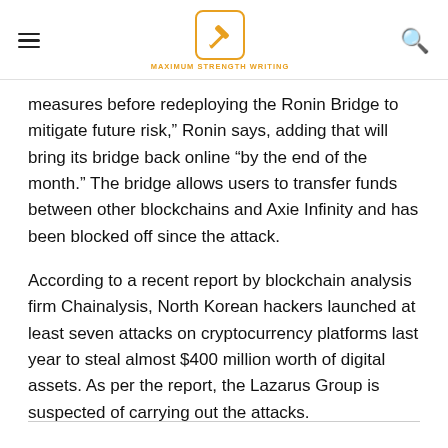MAXIMUM STRENGTH WRITING
measures before redeploying the Ronin Bridge to mitigate future risk,” Ronin says, adding that will bring its bridge back online “by the end of the month.” The bridge allows users to transfer funds between other blockchains and Axie Infinity and has been blocked off since the attack.
According to a recent report by blockchain analysis firm Chainalysis, North Korean hackers launched at least seven attacks on cryptocurrency platforms last year to steal almost $400 million worth of digital assets. As per the report, the Lazarus Group is suspected of carrying out the attacks.